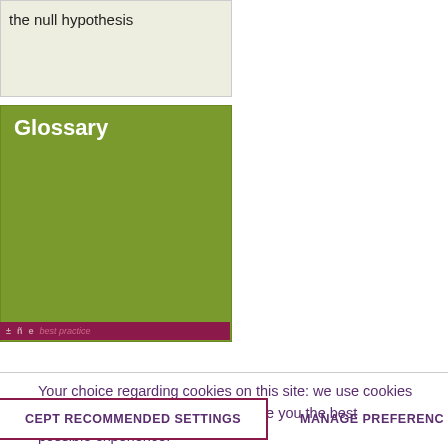the null hypothesis
Glossary
Your choice regarding cookies on this site: we use cookies to optimise site functionality and give you the best possible experience.
CEPT RECOMMENDED SETTINGS
MANAGE PREFERENC